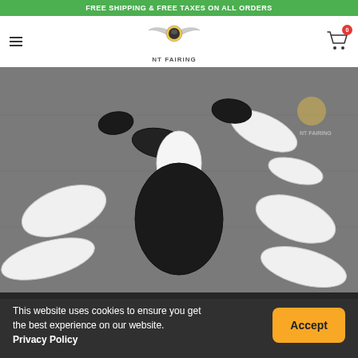FREE SHIPPING & FREE TAXES ON ALL ORDERS
[Figure (logo): NT Fairing logo with winged motorcycle helmet graphic and text NT FAIRING]
[Figure (photo): Motorcycle fairing parts kit laid out on a gray floor, showing white and black plastic body panels for a sport motorcycle]
This website uses cookies to ensure you get the best experience on our website. Privacy Policy